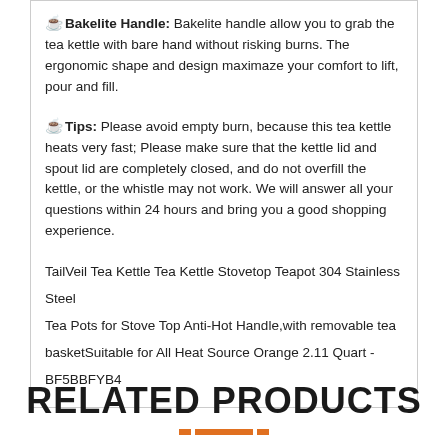☕Bakelite Handle: Bakelite handle allow you to grab the tea kettle with bare hand without risking burns. The ergonomic shape and design maximaze your comfort to lift, pour and fill.
☕Tips: Please avoid empty burn, because this tea kettle heats very fast; Please make sure that the kettle lid and spout lid are completely closed, and do not overfill the kettle, or the whistle may not work. We will answer all your questions within 24 hours and bring you a good shopping experience.
TailVeil Tea Kettle Tea Kettle Stovetop Teapot 304 Stainless Steel Tea Pots for Stove Top Anti-Hot Handle,with removable tea basketSuitable for All Heat Source Orange 2.11 Quart - BF5BBFYB4
RELATED PRODUCTS